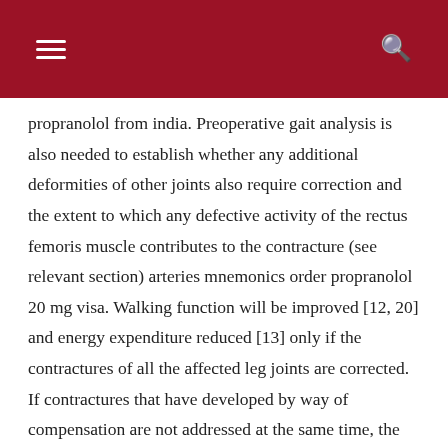propranolol from india. Preoperative gait analysis is also needed to establish whether any additional deformities of other joints also require correction and the extent to which any defective activity of the rectus femoris muscle contributes to the contracture (see relevant section) arteries mnemonics order propranolol 20 mg visa. Walking function will be improved [12, 20] and energy expenditure reduced [13] only if the contractures of all the affected leg joints are corrected. If contractures that have developed by way of compensation are not addressed at the same time, the lengthening of the hamstring muscles will not prove very